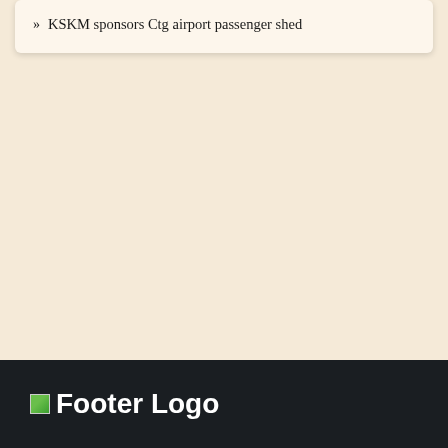KSKM sponsors Ctg airport passenger shed
Footer Logo